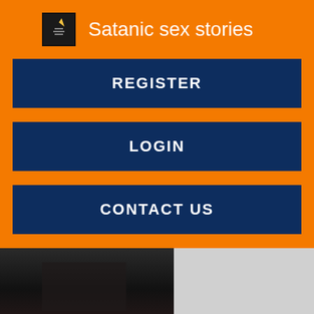Satanic sex stories
REGISTER
LOGIN
CONTACT US
[Figure (photo): Dark/dimly lit photo thumbnail]
Good sex 10 min. Seka and The Hungry Black Bull 10 min. Laney Grey Fuck Tommy Wood 11 min. Yes, StepMother show me that big...